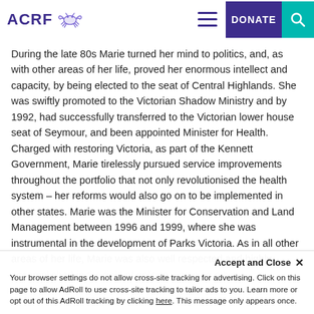ACRF [logo with crab icon] | DONATE
During the late 80s Marie turned her mind to politics, and, as with other areas of her life, proved her enormous intellect and capacity, by being elected to the seat of Central Highlands. She was swiftly promoted to the Victorian Shadow Ministry and by 1992, had successfully transferred to the Victorian lower house seat of Seymour, and been appointed Minister for Health. Charged with restoring Victoria, as part of the Kennett Government, Marie tirelessly pursued service improvements throughout the portfolio that not only revolutionised the health system – her reforms would also go on to be implemented in other states. Marie was the Minister for Conservation and Land Management between 1996 and 1999, where she was instrumental in the development of Parks Victoria. As in all other areas of her life, Marie was also well respected and highly accomplished in the field of politics – gaining a highly sought…
Accept and Close ×
Your browser settings do not allow cross-site tracking for advertising. Click on this page to allow AdRoll to use cross-site tracking to tailor ads to you. Learn more or opt out of this AdRoll tracking by clicking here. This message only appears once.